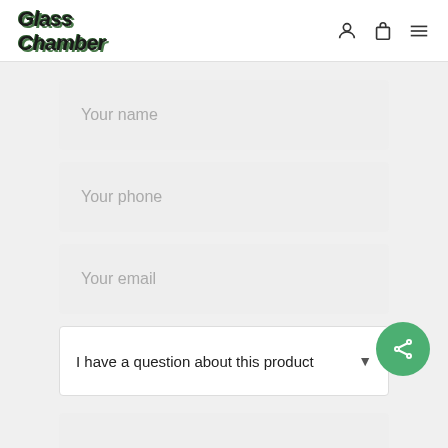Glass Chamber
Your name
Your phone
Your email
I have a question about this product